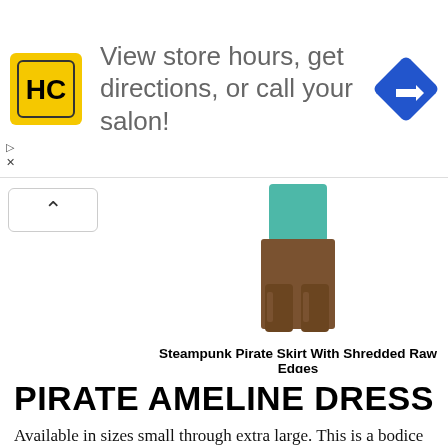[Figure (screenshot): Advertisement banner with HC (Hair Club) logo on yellow square, text 'View store hours, get directions, or call your salon!', and a blue diamond navigation arrow icon on the right. Small play and close controls at bottom left.]
[Figure (photo): Product photo of a person's lower body wearing a teal/green top and brown tall boots, representing a pirate skirt product.]
Steampunk Pirate Skirt With Shredded Raw Edges
[Figure (screenshot): Buy from amazon.com button with Amazon logo arrow icon on a gold/beige gradient background.]
PIRATE AMELINE DRESS
Available in sizes small through extra large. This is a bodice with attached skirt, made from 100% cotton. The bodice is laced with brass grommets and the full skirt has a front split. Wear with a solid white under